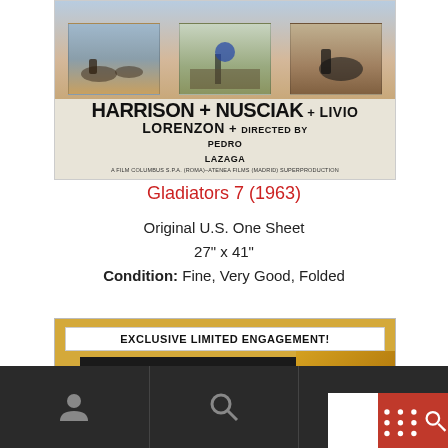[Figure (photo): Movie poster for Gladiators 7 (1963) showing cast scenes at top with credits: Richard Harrison, Loredana Nusciak, Livio Lorenzon, Pedro Lazaga. A Film Columbus S.P.A. (Roma) - Atenea Films (Madrid) Superproduction.]
Gladiators 7 (1963)
Original U.S. One Sheet
27" x 41"
Condition: Fine, Very Good, Folded
[Figure (photo): Movie poster for The Greatest showing 'EXCLUSIVE LIMITED ENGAGEMENT!' banner, The George Stevens Production, THE GREATEST text on dark background with golden artwork on right side.]
[Figure (other): Bottom navigation bar with person icon, search icon, and red button with grid/menu icon and search icon on right side.]